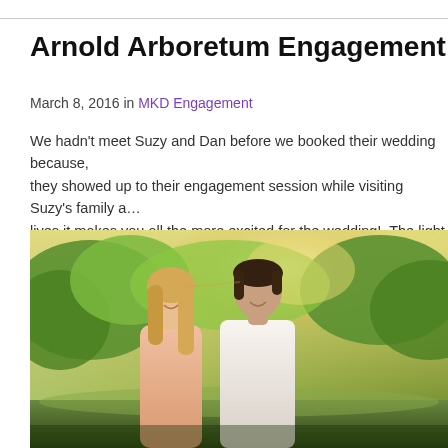Arnold Arboretum Engagement Photo…
March 8, 2016 in MKD Engagement
We hadn't meet Suzy and Dan before we booked their wedding because, they showed up to their engagement session while visiting Suzy's family a… lives it makes you all the more excited for the wedding!  The light in the Ar…
[Figure (photo): A couple leaning their foreheads together smiling, outdoors at Arnold Arboretum with green trees and warm golden light in the background. The woman has long blonde hair and wears a light peach dress; the man has dark hair and wears a white shirt.]